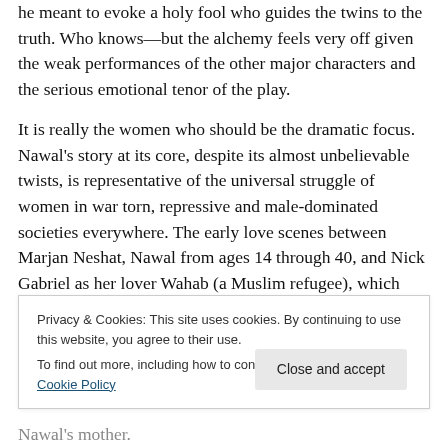he meant to evoke a holy fool who guides the twins to the truth. Who knows—but the alchemy feels very off given the weak performances of the other major characters and the serious emotional tenor of the play.
It is really the women who should be the dramatic focus. Nawal's story at its core, despite its almost unbelievable twists, is representative of the universal struggle of women in war torn, repressive and male-dominated societies everywhere. The early love scenes between Marjan Neshat, Nawal from ages 14 through 40, and Nick Gabriel as her lover Wahab (a Muslim refugee), which should really hook us, are devoid of passion. As
Privacy & Cookies: This site uses cookies. By continuing to use this website, you agree to their use.
To find out more, including how to control cookies, see here: Cookie Policy
Nawal's mother.